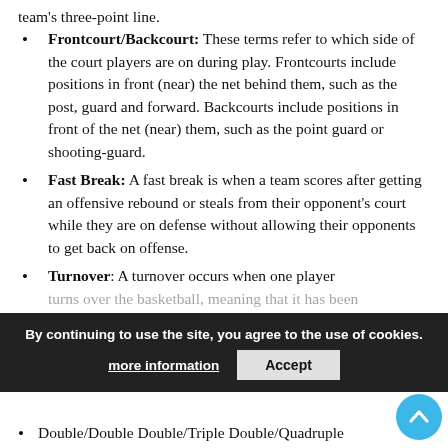team's three-point line.
Frontcourt/Backcourt: These terms refer to which side of the court players are on during play. Frontcourts include positions in front (near) the net behind them, such as the post, guard and forward. Backcourts include positions in front of the net (near) them, such as the point guard or shooting-guard.
Fast Break: A fast break is when a team scores after getting an offensive rebound or steals from their opponent's court while they are on defense without allowing their opponents to get back on offense.
Turnover: A turnover occurs when one player turns over the basketball, meaning that it has been given away to another team who can take possession of the ball.
Double/Double Double/Triple Double/Quadruple
By continuing to use the site, you agree to the use of cookies. more information | Accept